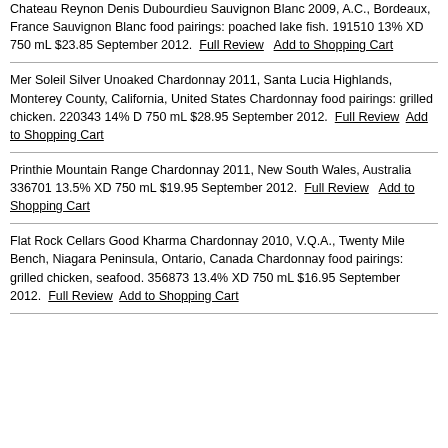Chateau Reynon Denis Dubourdieu Sauvignon Blanc 2009, A.C., Bordeaux, France Sauvignon Blanc food pairings: poached lake fish. 191510 13% XD 750 mL $23.85 September 2012. Full Review  Add to Shopping Cart
Mer Soleil Silver Unoaked Chardonnay 2011, Santa Lucia Highlands, Monterey County, California, United States Chardonnay food pairings: grilled chicken. 220343 14% D 750 mL $28.95 September 2012. Full Review  Add to Shopping Cart
Printhie Mountain Range Chardonnay 2011, New South Wales, Australia 336701 13.5% XD 750 mL $19.95 September 2012. Full Review  Add to Shopping Cart
Flat Rock Cellars Good Kharma Chardonnay 2010, V.Q.A., Twenty Mile Bench, Niagara Peninsula, Ontario, Canada Chardonnay food pairings: grilled chicken, seafood. 356873 13.4% XD 750 mL $16.95 September 2012. Full Review  Add to Shopping Cart